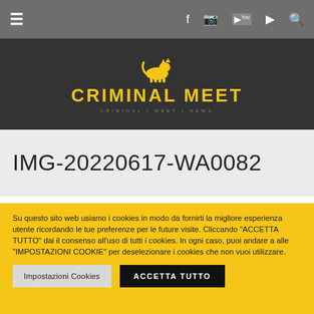≡  f  [instagram]  [youtube]  [spotify]  [search]
[Figure (logo): Criminal Meet logo: yellow cat silhouette walking above yellow bold text CRIMINAL MEET on dark background]
IMG-20220617-WA0082
Su questo sito web usiamo i cookies in modo da fornirti la migliore esperienza utente ricordando le tue preferenze per le future visite. Cliccando "ACCETTA TUTTO" dai il consenso all'uso di tutti i cookies. In ogni caso, puoi andare a alle "IMPOSTAZIONI COOKIE" per deselezionare i cookies che non vuoi utilizzare.
Impostazioni Cookies   ACCETTA TUTTO